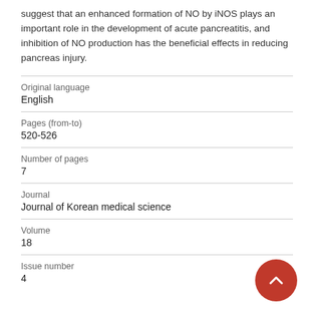suggest that an enhanced formation of NO by iNOS plays an important role in the development of acute pancreatitis, and inhibition of NO production has the beneficial effects in reducing pancreas injury.
| Original language | English |
| Pages (from-to) | 520-526 |
| Number of pages | 7 |
| Journal | Journal of Korean medical science |
| Volume | 18 |
| Issue number | 4 |